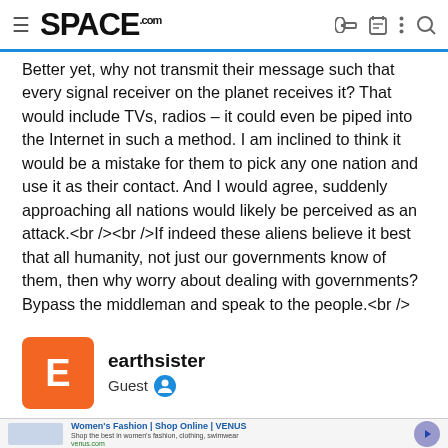SPACE.com
Better yet, why not transmit their message such that every signal receiver on the planet receives it? That would include TVs, radios – it could even be piped into the Internet in such a method. I am inclined to think it would be a mistake for them to pick any one nation and use it as their contact. And I would agree, suddenly approaching all nations would likely be perceived as an attack.<br /><br />If indeed these aliens believe it best that all humanity, not just our governments know of them, then why worry about dealing with governments? Bypass the middleman and speak to the people.<br />
earthsister
Guest
[Figure (screenshot): Advertisement banner for Women's Fashion at VENUS (venus.com)]